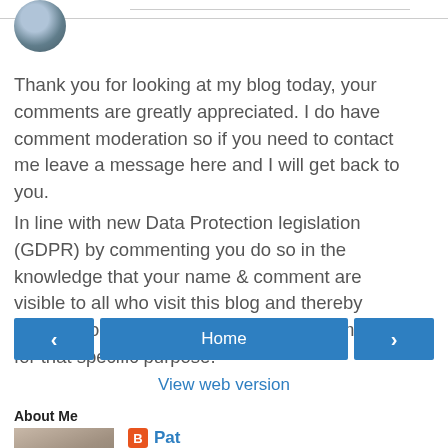[Figure (photo): Circular avatar/profile photo of a person, partially visible at top left]
Thank you for looking at my blog today, your comments are greatly appreciated. I do have comment moderation so if you need to contact me leave a message here and I will get back to you.
In line with new Data Protection legislation (GDPR) by commenting you do so in the knowledge that your name & comment are visible to all who visit this blog and thereby consent to the use of that personal information for that specific purpose.
‹  Home  ›  View web version
About Me
[Figure (photo): Profile photo of Pat, a person with grey/brown hair]
Pat
Since I was young I have always been interested in